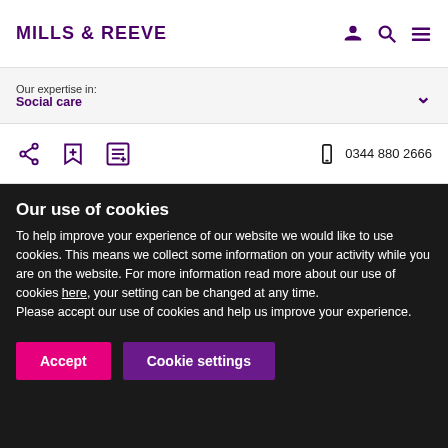MILLS & REEVE
Our expertise in: Social care
0344 880 2666
Our use of cookies
To help improve your experience of our website we would like to use cookies. This means we collect some information on your activity while you are on the website. For more information read more about our use of cookies here, your setting can be changed at any time.
Please accept our use of cookies and help us improve your experience.
Accept
Cookie settings